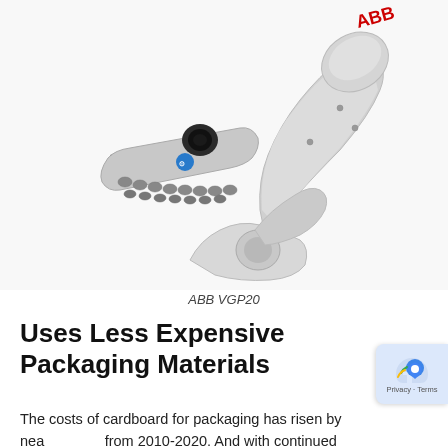[Figure (photo): Photo of an ABB VGP20 robotic arm with vacuum gripper attachment, white industrial robot, shown at an angle against a white background. ABB logo visible in red at top.]
ABB VGP20
Uses Less Expensive Packaging Materials
The costs of cardboard for packaging has risen by nea... from 2010-2020. And with continued strong growth of e...